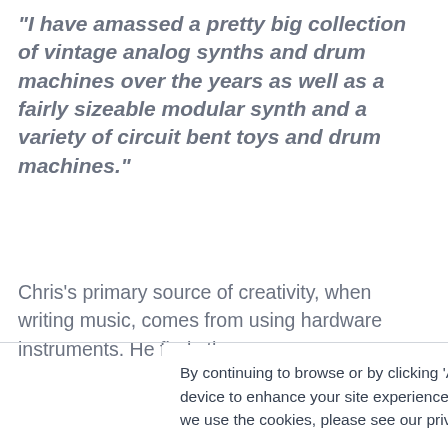"I have amassed a pretty big collection of vintage analog synths and drum machines over the years as well as a fairly sizeable modular synth and a variety of circuit bent toys and drum machines."
Chris's primary source of creativity, when writing music, comes from using hardware instruments. He finds the
By continuing to browse or by clicking 'Accept', you agree to the storing of cookies on your device to enhance your site experience and for analytical purposes. To learn more about how we use the cookies, please see our privacy policy.
If you decline, your information won't be tracked when you visit this website. A single cookie will be used in your browser to remember your preference not to be tracked.